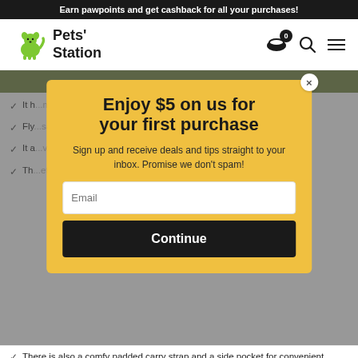Earn pawpoints and get cashback for all your purchases!
[Figure (logo): Pets' Station logo with green dog icon]
Enjoy $5 on us for your first purchase
Sign up and receive deals and tips straight to your inbox. Promise we don't spam!
It h... ma... ma... of
Fly... sa... th... with its... with the...
It a... vie... sio... e
Th... et is at... g y p
There is also a comfy padded carry strap and a side pocket for convenient storage.